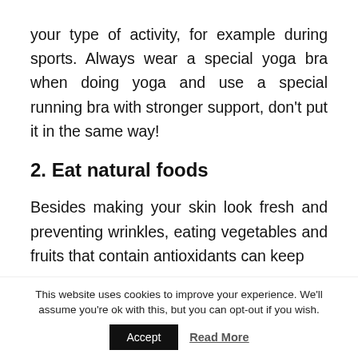your type of activity, for example during sports. Always wear a special yoga bra when doing yoga and use a special running bra with stronger support, don't put it in the same way!
2. Eat natural foods
Besides making your skin look fresh and preventing wrinkles, eating vegetables and fruits that contain antioxidants can keep
This website uses cookies to improve your experience. We'll assume you're ok with this, but you can opt-out if you wish.